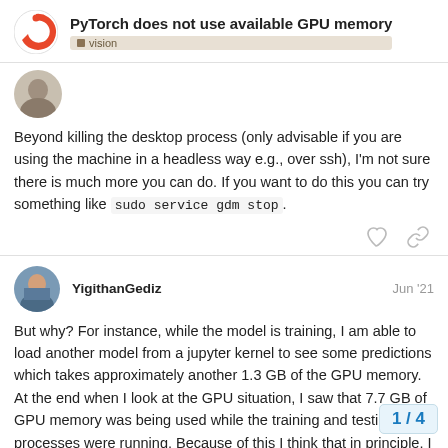PyTorch does not use available GPU memory
vision
[Figure (photo): User avatar photo, circular crop, person image]
Beyond killing the desktop process (only advisable if you are using the machine in a headless way e.g., over ssh), I'm not sure there is much more you can do. If you want to do this you can try something like sudo service gdm stop.
YigithanGediz Jun '21
[Figure (photo): User avatar photo of YigithanGediz, circular crop]
But why? For instance, while the model is training, I am able to load another model from a jupyter kernel to see some predictions which takes approximately another 1.3 GB of the GPU memory. At the end when I look at the GPU situation, I saw that 7.7 GB of GPU memory was being used while the training and testing processes were running. Because of this I think that in principle, I should be a